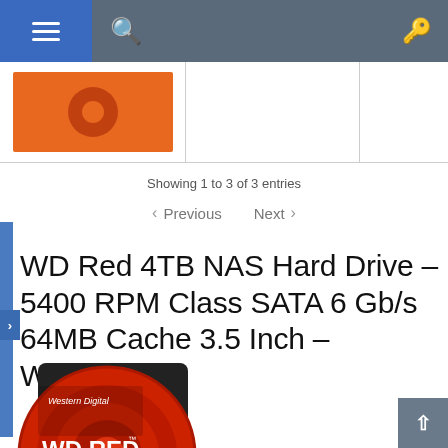Navigation header with menu, search, and key icons
[Figure (screenshot): Orange product thumbnail image with circle logo element]
Showing 1 to 3 of 3 entries
< Previous   Next >
WD Red 4TB NAS Hard Drive – 5400 RPM Class SATA 6 Gb/s 64MB Cache 3.5 Inch – WD40EFRX
[Figure (photo): WD Red 4TB NAS Hard Drive product photo showing the red hard drive with Western Digital branding, WD RED and 3.5 NAS HARD DRIVE text]